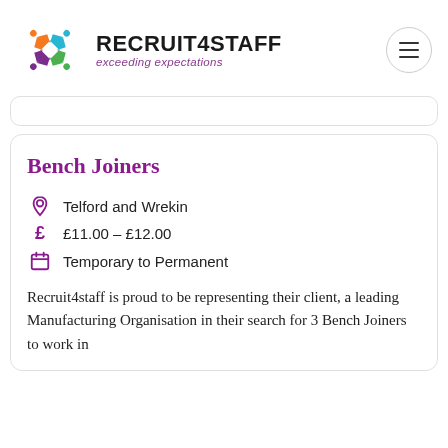[Figure (logo): Recruit4Staff logo with colourful star/person shapes and text 'RECRUIT4STAFF exceeding expectations']
Bench Joiners
Telford and Wrekin
£11.00 - £12.00
Temporary to Permanent
Recruit4staff is proud to be representing their client, a leading Manufacturing Organisation in their search for 3 Bench Joiners to work in